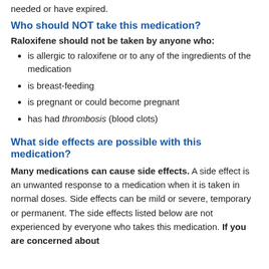needed or have expired.
Who should NOT take this medication?
Raloxifene should not be taken by anyone who:
is allergic to raloxifene or to any of the ingredients of the medication
is breast-feeding
is pregnant or could become pregnant
has had thrombosis (blood clots)
What side effects are possible with this medication?
Many medications can cause side effects. A side effect is an unwanted response to a medication when it is taken in normal doses. Side effects can be mild or severe, temporary or permanent. The side effects listed below are not experienced by everyone who takes this medication. If you are concerned about